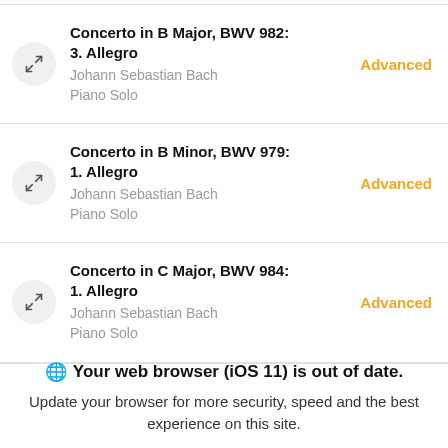Concerto in B Major, BWV 982: 3. Allegro
Johann Sebastian Bach
Piano Solo
Advanced
Concerto in B Minor, BWV 979: 1. Allegro
Johann Sebastian Bach
Piano Solo
Advanced
Concerto in C Major, BWV 984: 1. Allegro
Johann Sebastian Bach
Piano Solo
Advanced
Your web browser (iOS 11) is out of date. Update your browser for more security, speed and the best experience on this site.
Update browser | Ignore